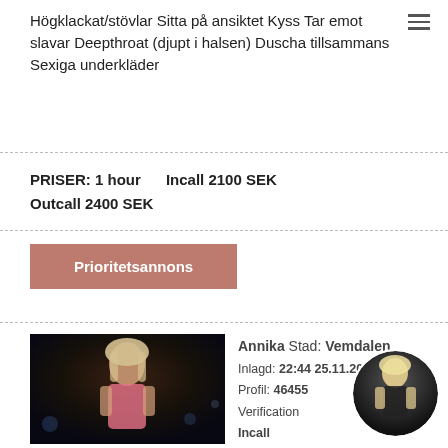Högklackat/stövlar Sitta på ansiktet Kyss Tar emot slavar Deepthroat (djupt i halsen) Duscha tillsammans Sexiga underkläder
PRISER: 1 hour    Incall 2100 SEK
Outcall 2400 SEK
Prioritetsannons
[Figure (photo): Photo of a blonde woman in a pink top at night near a pool]
Annika Stad: Vemdalen
Inlagd: 22:44 25.11.2020
Profil: 46455
Verification
Incall
Info
Telefon: +46XXX475539
[Figure (photo): Circular thumbnail photo of a blonde woman in black lingerie]